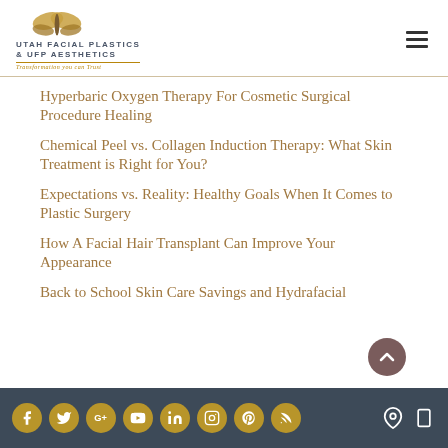UTAH FACIAL PLASTICS & UFP AESTHETICS — Transformation you can Trust
Hyperbaric Oxygen Therapy For Cosmetic Surgical Procedure Healing
Chemical Peel vs. Collagen Induction Therapy: What Skin Treatment is Right for You?
Expectations vs. Reality: Healthy Goals When It Comes to Plastic Surgery
How A Facial Hair Transplant Can Improve Your Appearance
Back to School Skin Care Savings and Hydrafacial
Social media icons: Facebook, Twitter, Google+, YouTube, LinkedIn, Instagram, Pinterest, RSS | Location icon | Mobile icon